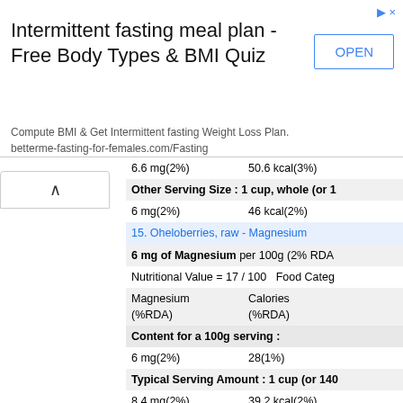[Figure (screenshot): Advertisement banner for intermittent fasting meal plan]
6.6 mg(2%)   50.6 kcal(3%)
Other Serving Size : 1 cup, whole (or 1...
6 mg(2%)   46 kcal(2%)
15. Oheloberries, raw - Magnesium
6 mg of Magnesium per 100g (2% RDA...
Nutritional Value = 17 / 100   Food Categ...
Magnesium (%RDA)   Calories (%RDA)
Content for a 100g serving :
6 mg(2%)   28(1%)
Typical Serving Amount : 1 cup (or 140...
8.4 mg(2%)   39.2 kcal(2%)
Other Serving Size : 10 fruit (or 11g):
0.66 mg(0%)   3.08 kcal(0%)
16. Cranberry juice, unsweetened - Magn...
6 mg of Magnesium per 100g (2% RDA...
Nutritional Value = 16 / 100   Food Categ...
Magnesium (%RDA)   Calories (%RDA)
Content for a 100g serving :